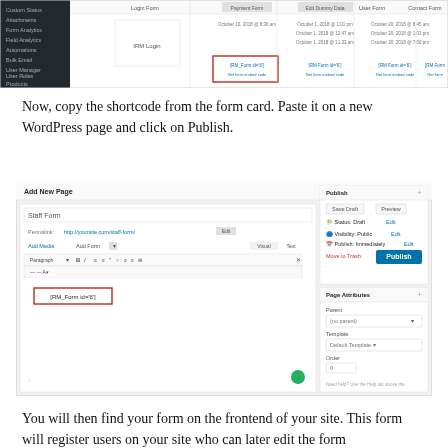[Figure (screenshot): Screenshot of WordPress form manager showing form cards with Payment Form, Edit Dummy Data Form, User Form, and Contact Form with shortcode options highlighted in red box]
Now, copy the shortcode from the form card. Paste it on a new WordPress page and click on Publish.
[Figure (screenshot): Screenshot of WordPress Add New Page editor titled 'Staff Form' showing the shortcode [RM_Form id='6'] in the editor area, with Publish panel on the right side and Page Attributes panel below it]
You will then find your form on the frontend of your site. This form will register users on your site who can later edit the form